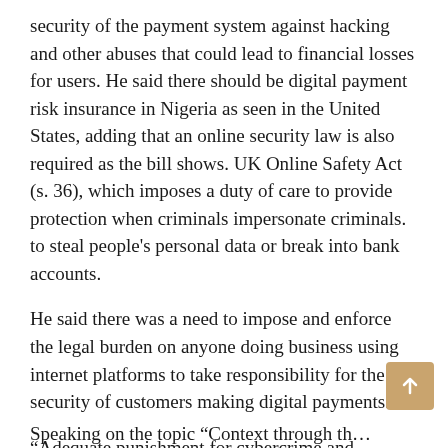security of the payment system against hacking and other abuses that could lead to financial losses for users. He said there should be digital payment risk insurance in Nigeria as seen in the United States, adding that an online security law is also required as the bill shows. UK Online Safety Act (s. 36), which imposes a duty of care to provide protection when criminals impersonate criminals. to steal people's personal data or break into bank accounts.
He said there was a need to impose and enforce the legal burden on anyone doing business using internet platforms to take responsibility for the security of customers making digital payments.
“Adequate punishment for cybercrime and effective enforcement. The digital infrastructure must be robust. Online policing/surveillance of financial transactions, international cooperation is needed,” he stressed.
Speaking on the topic “Context through the Future of Payments in